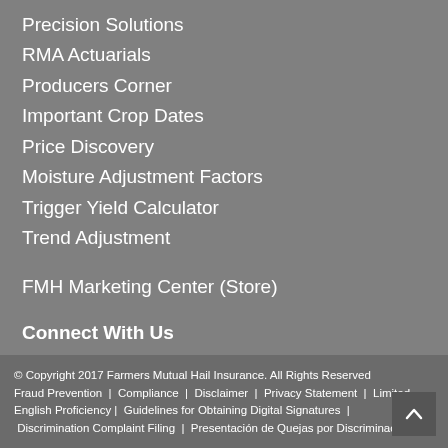Precision Solutions
RMA Actuarials
Producers Corner
Important Crop Dates
Price Discovery
Moisture Adjustment Factors
Trigger Yield Calculator
Trend Adjustment
FMH Marketing Center (Store)
Connect With Us
© Copyright 2017 Farmers Mutual Hail Insurance. All Rights Reserved Fraud Prevention  |  Compliance  |  Disclaimer  |  Privacy Statement  |  Limited English Proficiency |  Guidelines for Obtaining Digital Signatures  |  Discrimination Complaint Filing  |  Presentación de Quejas por Discriminación